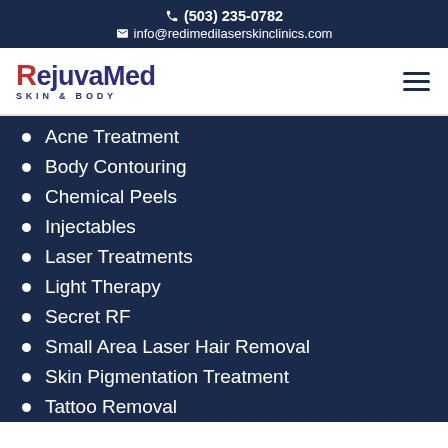(503) 235-0782
info@redimedilaserskinclinics.com
[Figure (logo): RejuvaMed Skin & Body logo with red R accent and hamburger menu icon]
Acne Treatment
Body Contouring
Chemical Peels
Injectables
Laser Treatments
Light Therapy
Secret RF
Small Area Laser Hair Removal
Skin Pigmentation Treatment
Tattoo Removal